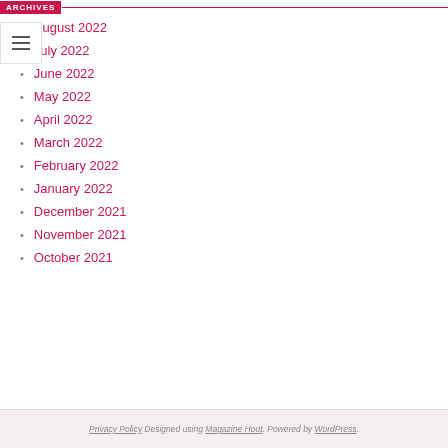ARCHIVES
August 2022
July 2022
June 2022
May 2022
April 2022
March 2022
February 2022
January 2022
December 2021
November 2021
October 2021
Privacy Policy Designed using Magazine Hoot. Powered by WordPress.